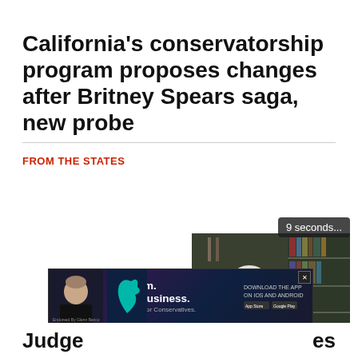California's conservatorship program proposes changes after Britney Spears saga, new probe
FROM THE STATES
[Figure (screenshot): Embedded video player showing a man in a black jacket seated in front of bookshelves. A countdown timer reads '9 seconds...' in the top right corner. Video controls (pause, rewind, settings, theater) and a 'Just the News' logo appear at the bottom of the player.]
[Figure (other): Advertisement banner with dark purple/blue gradient background. Shows a man on the left, a teal bird logo, and bold white text reading 'Freedom. Jobs. Business.' with subtitle 'Easy Crypto for Conservatives.' Right side reads 'DOWNLOAD THE APP ON IOS AND ANDROID' with app store logos. X close button in top right corner.]
Judge